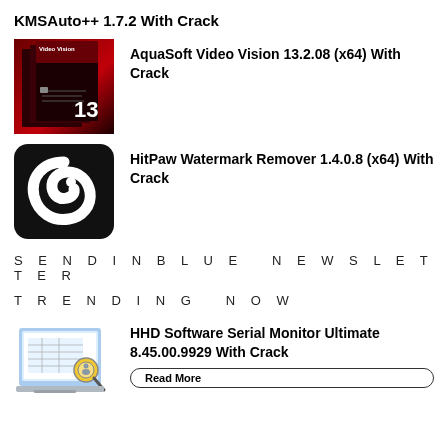KMSAuto++ 1.7.2 With Crack
[Figure (illustration): AquaSoft Video Vision 13 software box cover with red and black design]
AquaSoft Video Vision 13.2.08 (x64) With Crack
[Figure (logo): HitPaw logo - white swirl on black rounded square background]
HitPaw Watermark Remover 1.4.0.8 (x64) With Crack
SENDINBLUE NEWSLETTER
TRENDING NOW
[Figure (screenshot): HHD Software Serial Monitor Ultimate on laptop screen with magnifying glass]
HHD Software Serial Monitor Ultimate 8.45.00.9929 With Crack
Read More